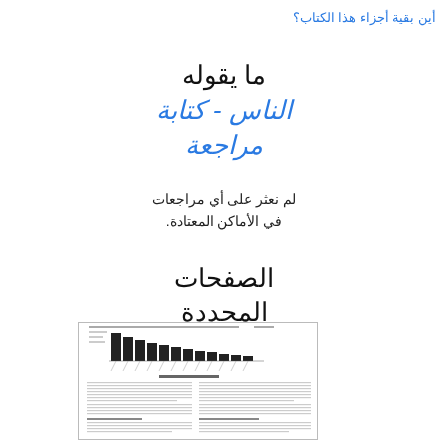أين بقية أجزاء هذا الكتاب؟
ما يقوله الناس - كتابة مراجعة
لم نعثر على أي مراجعات في الأماكن المعتادة.
الصفحات المحددة
[Figure (screenshot): Thumbnail of a document page showing a bar chart at the top and two columns of text below.]